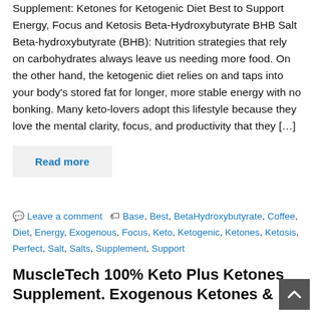Supplement: Ketones for Ketogenic Diet Best to Support Energy, Focus and Ketosis Beta-Hydroxybutyrate BHB Salt Beta-hydroxybutyrate (BHB): Nutrition strategies that rely on carbohydrates always leave us needing more food. On the other hand, the ketogenic diet relies on and taps into your body's stored fat for longer, more stable energy with no bonking. Many keto-lovers adopt this lifestyle because they love the mental clarity, focus, and productivity that they […]
Read more
Leave a comment   Base, Best, BetaHydroxybutyrate, Coffee, Diet, Energy, Exogenous, Focus, Keto, Ketogenic, Ketones, Ketosis, Perfect, Salt, Salts, Supplement, Support
MuscleTech 100% Keto Plus Ketones Supplement. Exogenous Ketones &